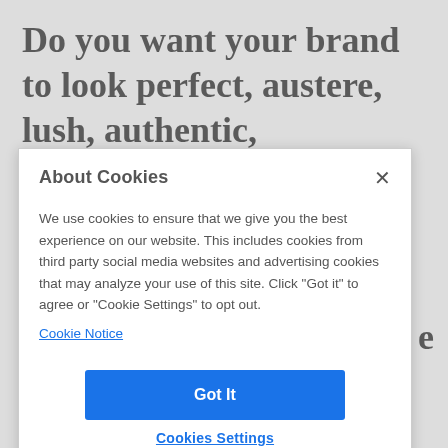Do you want your brand to look perfect, austere, lush, authentic, seductive? The lighting you use in your visual content can
About Cookies
We use cookies to ensure that we give you the best experience on our website. This includes cookies from third party social media websites and advertising cookies that may analyze your use of this site. Click "Got it" to agree or "Cookie Settings" to opt out.
Cookie Notice
Got It
Cookies Settings